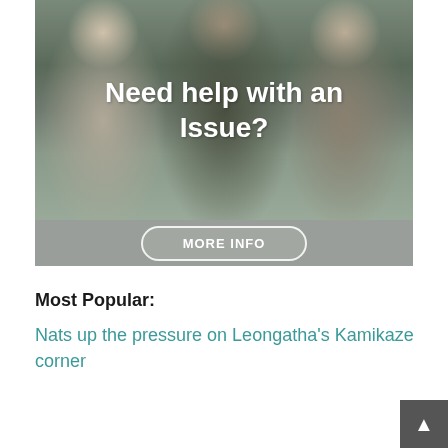[Figure (photo): Photo of three people (two women and a man) in what appears to be a library or office setting, with overlaid text 'Need help with an Issue?' and a 'MORE INFO' button below on a gray background band.]
Most Popular:
Nats up the pressure on Leongatha's Kamikaze corner